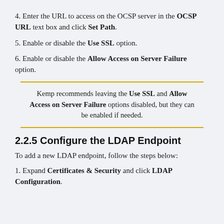4. Enter the URL to access on the OCSP server in the OCSP URL text box and click Set Path.
5. Enable or disable the Use SSL option.
6. Enable or disable the Allow Access on Server Failure option.
Kemp recommends leaving the Use SSL and Allow Access on Server Failure options disabled, but they can be enabled if needed.
2.2.5 Configure the LDAP Endpoint
To add a new LDAP endpoint, follow the steps below:
1. Expand Certificates & Security and click LDAP Configuration.